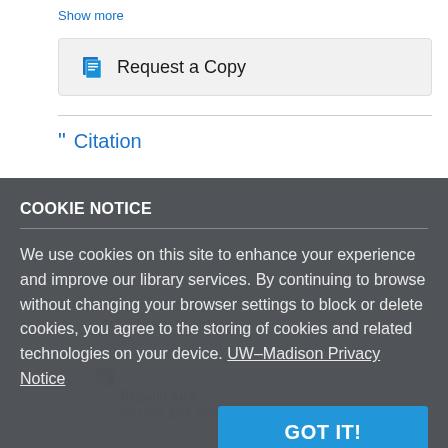Show more
Request a Copy
Citation
COOKIE NOTICE
We use cookies on this site to enhance your experience and improve our library services. By continuing to browse without changing your browser settings to block or delete cookies, you agree to the storing of cookies and related technologies on your device. UW–Madison Privacy Notice
GOT IT!